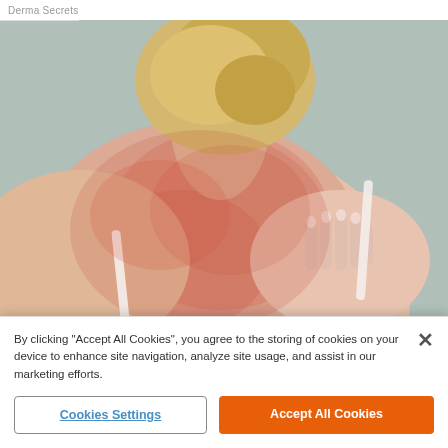Derma Secrets
[Figure (photo): Back view of a blonde woman in a white strap top scratching her upper back/shoulder area, which appears red and irritated, suggesting a skin condition such as psoriasis or eczema. Background is grey.]
Do You Know What Plaque Psoriasis Is? (Take a Look)
By clicking “Accept All Cookies”, you agree to the storing of cookies on your device to enhance site navigation, analyze site usage, and assist in our marketing efforts.
Cookies Settings
Accept All Cookies